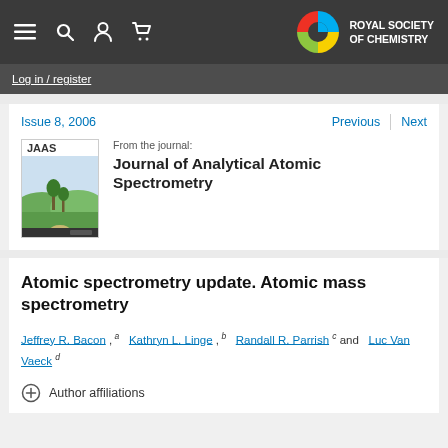Royal Society of Chemistry — Navigation bar
Log in / register
Issue 8, 2006
Previous   Next
[Figure (illustration): JAAS journal cover showing landscape scene]
From the journal:
Journal of Analytical Atomic Spectrometry
Atomic spectrometry update. Atomic mass spectrometry
Jeffrey R. Bacon , a   Kathryn L. Linge , b   Randall R. Parrish c and   Luc Van Vaeck d
Author affiliations